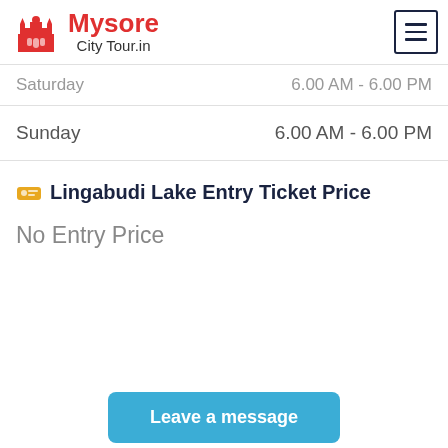Mysore City Tour.in
Saturday   6.00 AM - 6.00 PM
Sunday   6.00 AM - 6.00 PM
🎟 Lingabudi Lake Entry Ticket Price
No Entry Price
Leave a message